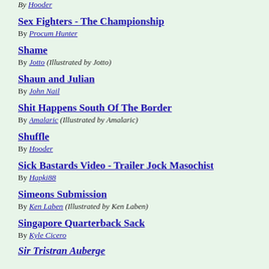By Hooder
Sex Fighters - The Championship
By Procum Hunter
Shame
By Jotto (Illustrated by Jotto)
Shaun and Julian
By John Nail
Shit Happens South Of The Border
By Amalaric (Illustrated by Amalaric)
Shuffle
By Hooder
Sick Bastards Video - Trailer Jock Masochist
By Hapki88
Simeons Submission
By Ken Laben (Illustrated by Ken Laben)
Singapore Quarterback Sack
By Kyle Cicero
Sir Tristran Auberge